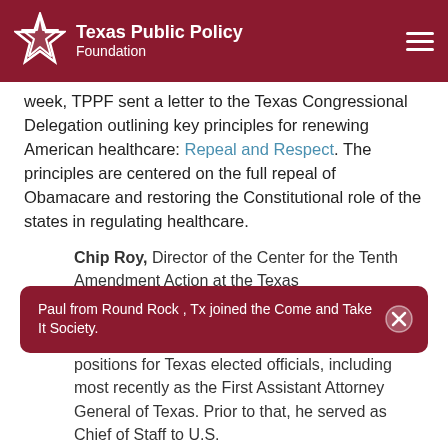Texas Public Policy Foundation
week, TPPF sent a letter to the Texas Congressional Delegation outlining key principles for renewing American healthcare: Repeal and Respect. The principles are centered on the full repeal of Obamacare and restoring the Constitutional role of the states in regulating healthcare.
Chip Roy, Director of the Center for the Tenth Amendment Action at the Texas
Paul from Round Rock , Tx joined the Come and Take It Society.
positions for Texas elected officials, including most recently as the First Assistant Attorney General of Texas. Prior to that, he served as Chief of Staff to U.S.